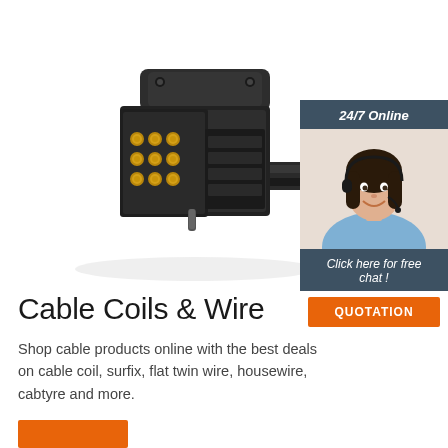[Figure (photo): Black multi-pin electrical connector/plug with gold pins on white background]
[Figure (photo): 24/7 Online customer service representative — woman wearing headset, smiling, with dark hair, blue top. Banner says '24/7 Online', 'Click here for free chat!', and orange 'QUOTATION' button.]
Cable Coils & Wire
Shop cable products online with the best deals on cable coil, surfix, flat twin wire, housewire, cabtyre and more.